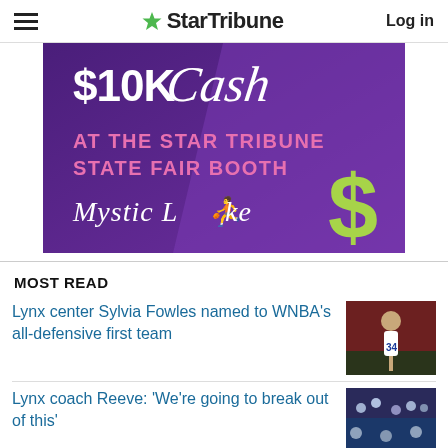☰ StarTribune  Log in
[Figure (photo): Advertisement banner for Mystic Lake casino promotion: '$10K Cash at the Star Tribune State Fair Booth' on a purple background with Mystic Lake logo and green dollar sign]
MOST READ
Lynx center Sylvia Fowles named to WNBA's all-defensive first team
[Figure (photo): Basketball player number 34 in white uniform reaching up during a game]
Lynx coach Reeve: 'We're going to break out of this'
[Figure (photo): Crowd at a basketball game, wide shot]